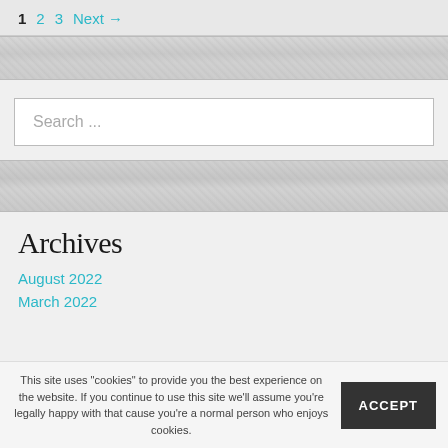1  2  3  Next →
[Figure (other): Textured gray decorative bar]
Search ...
[Figure (other): Textured gray decorative bar]
Archives
August 2022
March 2022
This site uses "cookies" to provide you the best experience on the website. If you continue to use this site we'll assume you're legally happy with that cause you're a normal person who enjoys cookies.